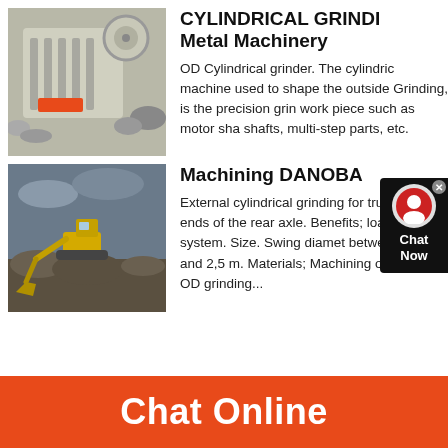[Figure (photo): Industrial jaw crusher machine, white/gray, with orange accent sticker]
CYLINDRICAL GRINDING Metal Machinery
OD Cylindrical grinder. The cylindrical machine used to shape the outside of Grinding, is the precision grinding work piece such as motor shafts, shafts, multi-step parts, etc.
[Figure (photo): Yellow excavator working on rocky terrain with stormy sky]
Machining DANOBAT
External cylindrical grinding for truck both ends of the rear axle. Benefits; loading system. Size. Swing diameter between 1,5 m and 2,5 m. Materials; Machining operations. OD grinding...
Chat Online